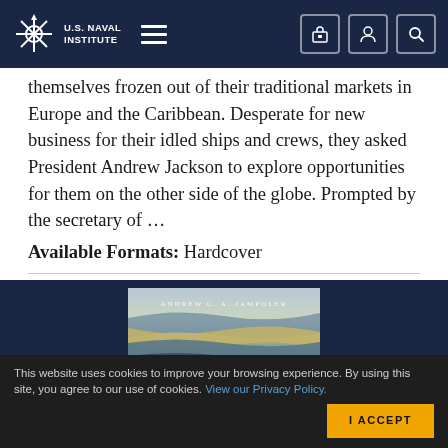U.S. Naval Institute
themselves frozen out of their traditional markets in Europe and the Caribbean. Desperate for new business for their idled ships and crews, they asked President Andrew Jackson to explore opportunities for them on the other side of the globe. Prompted by the secretary of …
Available Formats: Hardcover
[Figure (photo): Book cover showing layered landscape with text 'ANDREW C. A. JAMPOLER']
This website uses cookies to improve your browsing experience. By using this site, you agree to our use of cookies. View our Privacy Policy.